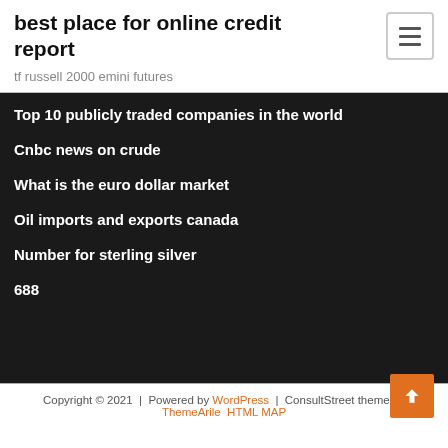best place for online credit report
tf russell 2000 emini futures
Top 10 publicly traded companies in the world
Cnbc news on crude
What is the euro dollar market
Oil imports and exports canada
Number for sterling silver
688
Copyright © 2021 | Powered by WordPress | ConsultStreet theme by ThemeArile HTML MAP